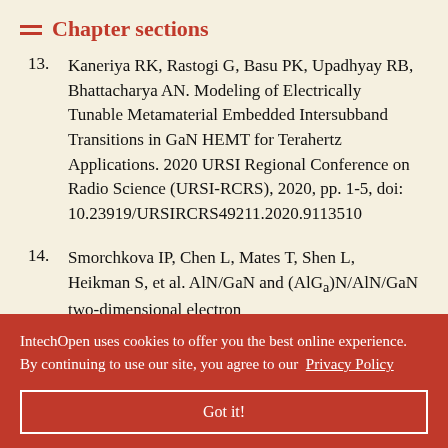Chapter sections
Kaneriya RK, Rastogi G, Basu PK, Upadhyay RB, Bhattacharya AN. Modeling of Electrically Tunable Metamaterial Embedded Intersubband Transitions in GaN HEMT for Terahertz Applications. 2020 URSI Regional Conference on Radio Science (URSI-RCRS), 2020, pp. 1-5, doi: 10.23919/URSIRCRS49211.2020.9113510
Smorchkova IP, Chen L, Mates T, Shen L, Heikman S, et al. AlN/GaN and (AlGa)N/AlN/GaN two-dimensional electron ...isted ...ishing LLC. 0:5196. DOI:
IntechOpen uses cookies to offer you the best online experience. By continuing to use our site, you agree to our Privacy Policy
e R, Zhang N-O, Buttari D, et al. AlGaN/AlN/GaN high-